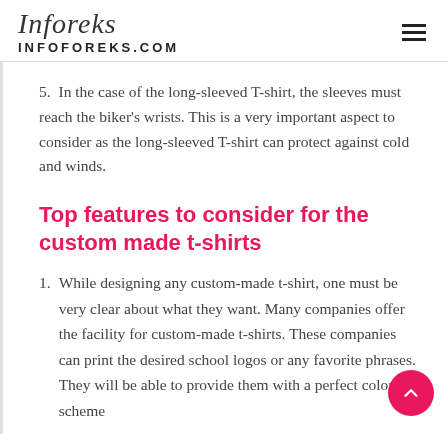Inforeks / INFOFOREKS.COM
5. In the case of the long-sleeved T-shirt, the sleeves must reach the biker's wrists. This is a very important aspect to consider as the long-sleeved T-shirt can protect against cold and winds.
Top features to consider for the custom made t-shirts
1. While designing any custom-made t-shirt, one must be very clear about what they want. Many companies offer the facility for custom-made t-shirts. These companies can print the desired school logos or any favorite phrases. They will be able to provide them with a perfect color scheme